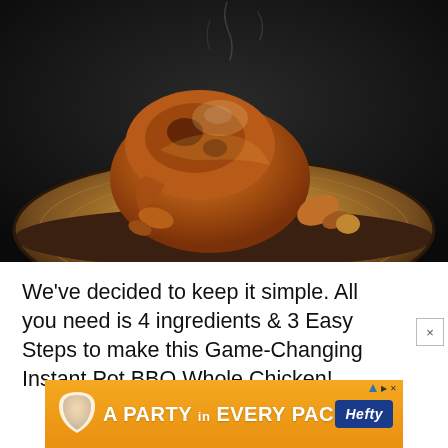[Figure (photo): A glazed rotisserie whole chicken on a round wooden board/tree trunk slice, photographed against a dark black background. The chicken has a deep golden-brown BBQ glaze and is steaming.]
We've decided to keep it simple. All you need is 4 ingredients & 3 Easy Steps to make this Game-Changing Instant Pot BBQ Whole Chicken!
[Figure (other): Advertisement banner: orange gradient background with text 'A PARTY in EVERY PACK' and Hefty brand logo. Includes AdChoices icon and close button.]